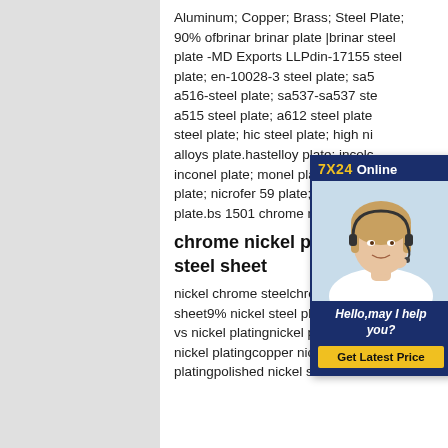Aluminum; Copper; Brass; Steel Plate; 90% ofbrinar brinar plate |brinar steel plate -MD Exports LLPdin-17155 steel plate; en-10028-3 steel plate; sa5... a516-steel plate; sa537-sa537 ste... a515 steel plate; a612 steel plate ... steel plate; hic steel plate; high ni... alloys plate.hastelloy plate; incolc... inconel plate; monel plate; nickel ... plate; nicrofer 59 plate; chrome m... plate.bs 1501 chrome moly steel ...
[Figure (other): Customer service chat widget overlay showing '7X24 Online' header in yellow/blue, a photo of a woman with a headset smiling, a message 'Hello,may I help you?' and a yellow 'Get Latest Price' button.]
chrome nickel plate powder steel sheet
nickel chrome steelchrome plated steel sheet9% nickel steel platestainless steel vs nickel platingnickel plating steelchrome nickel platingcopper nickel chrome platingpolished nickel sheets Sheets -